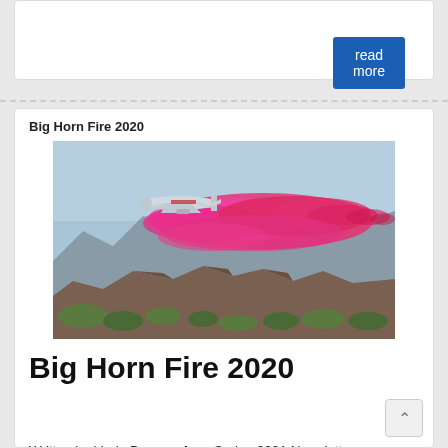read more
Big Horn Fire 2020
[Figure (photo): Aerial firefighting aircraft dropping pink/red fire retardant over rocky mountain terrain during the Big Horn Fire 2020]
Big Horn Fire 2020
Written by Linda Brown – from Spring 2021 Newsletter. 2020… What a year!   Little did my husband, Bob, and I realize what we we were getting ourselves into when we